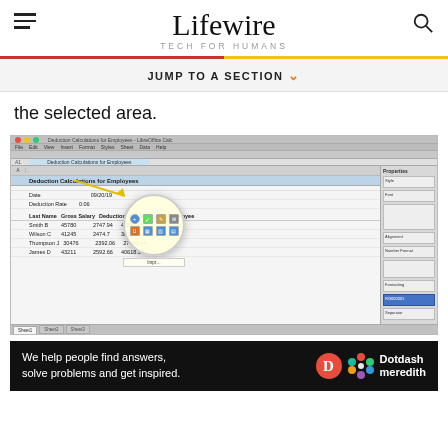Lifewire — TECH FOR HUMANS
JUMP TO A SECTION
the selected area.
[Figure (screenshot): Screenshot of LibreOffice Calc spreadsheet showing 'Deduction Calculations for Employees' with columns for Last Name, Gross Salary, Deduction, Net Salary, and Employee. A floating toolbar/context menu bubble is visible. A sidebar panel is shown on the right.]
[Figure (infographic): Dotdash Meredith advertisement banner: 'We help people find answers, solve problems and get inspired.' with Dotdash Meredith logo.]